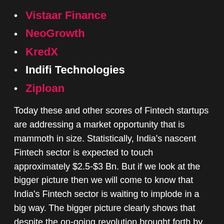Vistaar Finance
NeoGrowth
KredX
Indifi Technologies
Ziploan
Today these and other scores of Fintech startups are addressing a market opportunity that is mammoth in size. Statistically, India's nascent Fintech sector is expected to touch approximately $2.5-$3 Bn. But if we look at the bigger picture then we will come to know that India's Fintech sector is waiting to implode in a big way. The bigger picture clearly shows that despite the on-going revolution brought forth by Fintech companies, nearly 80 to